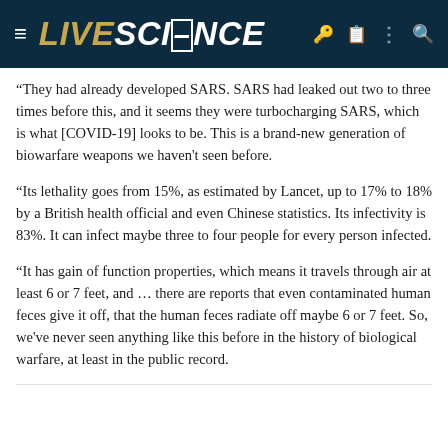LIVE SCIENCE
“They had already developed SARS. SARS had leaked out two to three times before this, and it seems they were turbocharging SARS, which is what [COVID-19] looks to be. This is a brand-new generation of biowarfare weapons we haven’t seen before.
“Its lethality goes from 15%, as estimated by Lancet, up to 17% to 18% by a British health official and even Chinese statistics. Its infectivity is 83%. It can infect maybe three to four people for every person infected.
“It has gain of function properties, which means it travels through air at least 6 or 7 feet, and … there are reports that even contaminated human feces give it off, that the human feces radiate off maybe 6 or 7 feet. So, we’ve never seen anything like this before in the history of biological warfare, at least in the public record.